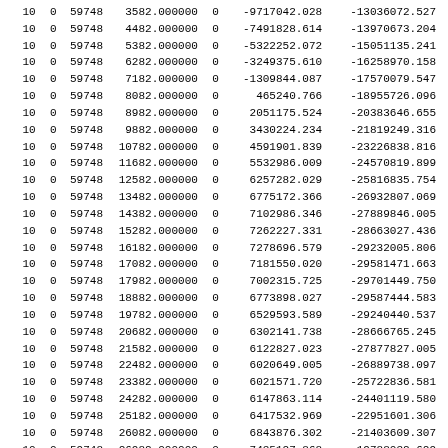| 10 | 0 | 59748 | 3582.000000 | 0 | -9717042.028 | -13036072.527 |
| 10 | 0 | 59748 | 4482.000000 | 0 | -7491828.614 | -13970673.204 |
| 10 | 0 | 59748 | 5382.000000 | 0 | -5322252.072 | -15051135.241 |
| 10 | 0 | 59748 | 6282.000000 | 0 | -3249375.610 | -16258970.158 |
| 10 | 0 | 59748 | 7182.000000 | 0 | -1309844.087 | -17570079.547 |
| 10 | 0 | 59748 | 8082.000000 | 0 | 465240.766 | -18955726.096 |
| 10 | 0 | 59748 | 8982.000000 | 0 | 2051175.524 | -20383646.655 |
| 10 | 0 | 59748 | 9882.000000 | 0 | 3430224.234 | -21819249.316 |
| 10 | 0 | 59748 | 10782.000000 | 0 | 4591901.839 | -23226838.816 |
| 10 | 0 | 59748 | 11682.000000 | 0 | 5532986.009 | -24570819.899 |
| 10 | 0 | 59748 | 12582.000000 | 0 | 6257282.029 | -25816835.754 |
| 10 | 0 | 59748 | 13482.000000 | 0 | 6775172.366 | -26932807.069 |
| 10 | 0 | 59748 | 14382.000000 | 0 | 7102986.346 | -27889846.005 |
| 10 | 0 | 59748 | 15282.000000 | 0 | 7262227.331 | -28663027.436 |
| 10 | 0 | 59748 | 16182.000000 | 0 | 7278696.579 | -29232005.806 |
| 10 | 0 | 59748 | 17082.000000 | 0 | 7181550.020 | -29581471.663 |
| 10 | 0 | 59748 | 17982.000000 | 0 | 7002315.725 | -29701449.750 |
| 10 | 0 | 59748 | 18882.000000 | 0 | 6773898.027 | -29587444.583 |
| 10 | 0 | 59748 | 19782.000000 | 0 | 6529593.589 | -29240440.537 |
| 10 | 0 | 59748 | 20682.000000 | 0 | 6302141.738 | -28666765.245 |
| 10 | 0 | 59748 | 21582.000000 | 0 | 6122827.023 | -27877827.005 |
| 10 | 0 | 59748 | 22482.000000 | 0 | 6020649.005 | -26889738.097 |
| 10 | 0 | 59748 | 23382.000000 | 0 | 6021571.720 | -25722836.581 |
| 10 | 0 | 59748 | 24282.000000 | 0 | 6147863.114 | -24401119.580 |
| 10 | 0 | 59748 | 25182.000000 | 0 | 6417532.969 | -22951601.306 |
| 10 | 0 | 59748 | 26082.000000 | 0 | 6843876.302 | -21403609.307 |
| 10 | 0 | 59748 | 26982.000000 | 0 | 7435127.868 | -19788032.629 |